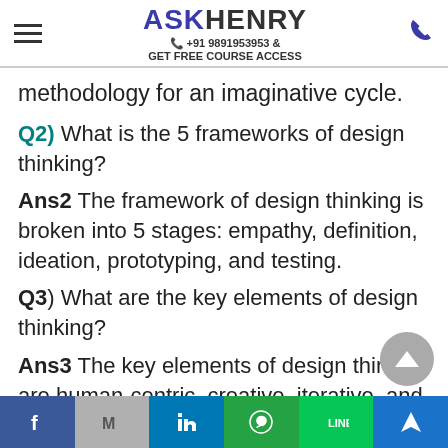ASKHENRY +91 9891953953 & GET FREE COURSE ACCESS
methodology for an imaginative cycle.
Q2) What is the 5 frameworks of design thinking?
Ans2 The framework of design thinking is broken into 5 stages: empathy, definition, ideation, prototyping, and testing.
Q3) What are the key elements of design thinking?
Ans3 The key elements of design thinking are human-centric, creative, iterative, and driven prototypes.
Social media links: Facebook, Gmail, LinkedIn, WhatsApp, Line, Navigation